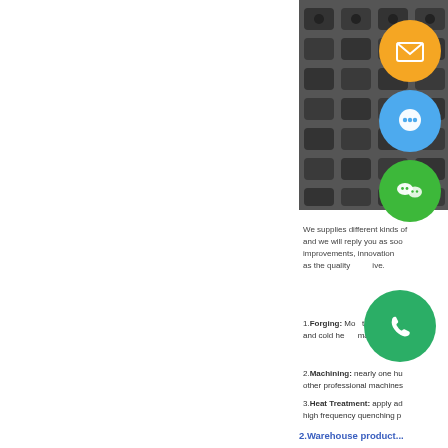[Figure (photo): Industrial metal forged parts (dark grey nuts/brackets) arranged in rows, photographed from above.]
We supplies different kinds of ... and we will reply you as soon ... improvements, innovations ... as the quality ... ive.
1. Forging: More than 10 gia... and cold he... machine w...
2. Machining: nearly one hu... other professional machines...
3. Heat Treatment: apply ad... high frequency quenching p...
2.Warehouse product...